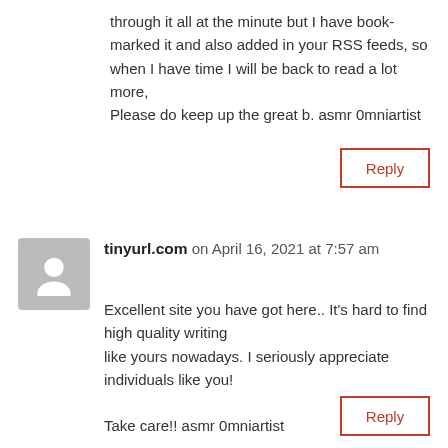through it all at the minute but I have book-marked it and also added in your RSS feeds, so when I have time I will be back to read a lot more,
Please do keep up the great b. asmr 0mniartist
Reply
tinyurl.com on April 16, 2021 at 7:57 am
Excellent site you have got here.. It's hard to find high quality writing
like yours nowadays. I seriously appreciate individuals like you!

Take care!! asmr 0mniartist
Reply